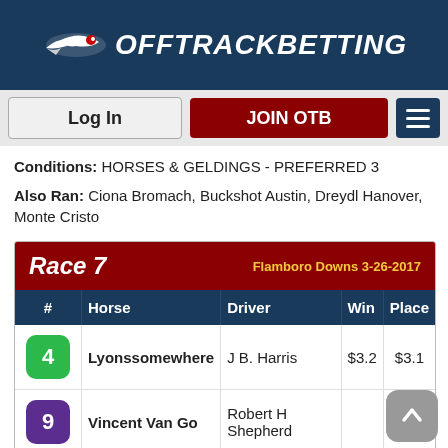[Figure (logo): OffTrackBetting logo with stylized bird/rocket and bold italic text on dark blue background]
[Figure (screenshot): Navigation bar with Log In button, JOIN OTB button in dark red, and hamburger menu icon in dark blue]
Conditions: HORSES & GELDINGS - PREFERRED 3
Also Ran: Ciona Bromach, Buckshot Austin, Dreydl Hanover, Monte Cristo
| # | Horse | Driver | Win | Place |
| --- | --- | --- | --- | --- |
| 4 | Lyonssomewhere | J B. Harris | $3.2 | $3.1 |
| 9 | Vincent Van Go | Robert H Shepherd |  | $7.2 |
| 3 | Who Doesnt | Travis A Cullen |  |  |